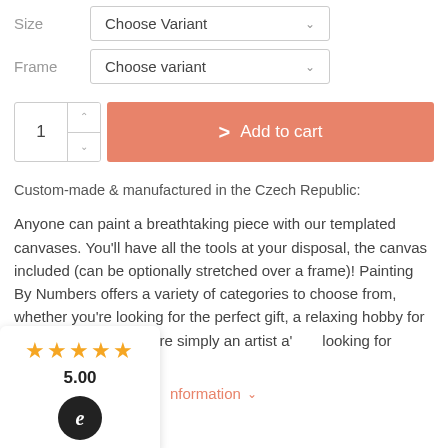Size   Choose Variant
Frame   Choose variant
1  >  Add to cart
Custom-made & manufactured in the Czech Republic:
Anyone can paint a breathtaking piece with our templated canvases. You'll have all the tools at your disposal, the canvas included (can be optionally stretched over a frame)! Painting By Numbers offers a variety of categories to choose from, whether you're looking for the perfect gift, a relaxing hobby for the weekends, or you're simply an artist a' looking for creative expression.
★★★★★ 5.00